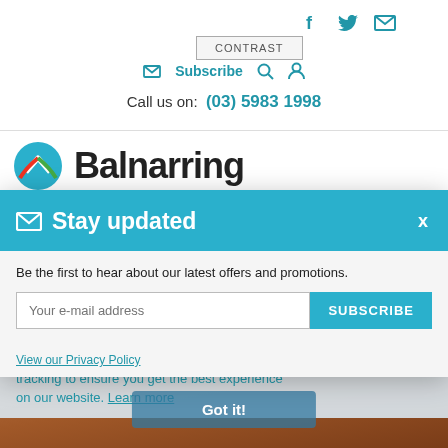CONTRAST
Subscribe  Search  Account
Call us on:  (03) 5983 1998
[Figure (logo): Balnarring logo with colored arrow icon and bold text]
[Figure (photo): Canyon landscape background photo]
This website uses cookies and Google Analytics tracking to ensure you get the best experience on our website. Learn more
Got it!
Stay updated
Be the first to hear about our latest offers and promotions.
Your e-mail address  SUBSCRIBE
View our Privacy Policy